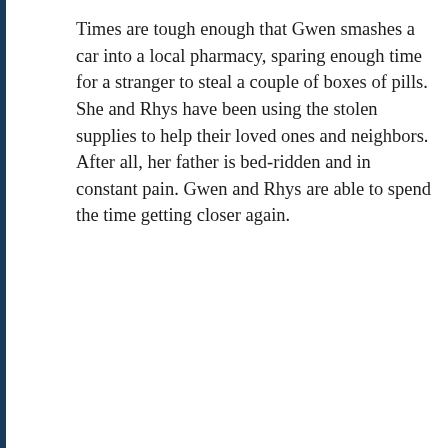Times are tough enough that Gwen smashes a car into a local pharmacy, sparing enough time for a stranger to steal a couple of boxes of pills. She and Rhys have been using the stolen supplies to help their loved ones and neighbors. After all, her father is bed-ridden and in constant pain. Gwen and Rhys are able to spend the time getting closer again.
[Figure (other): Advertisement banner with dark background showing 'Launch your online course with WordPress' with a bonsai tree icon and 'Learn More' button]
In St. Margaret's Halt, Scotland, Esther has
[Figure (other): Advertisements section placeholder with light gray background and 'REPORT THIS AD' text]